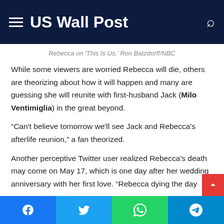US Wall Post
Rebecca on 'This Is Us.' Ron Batzdorff/NBC
While some viewers are worried Rebecca will die, others are theorizing about how it will happen and many are guessing she will reunite with first-husband Jack (Milo Ventimiglia) in the great beyond.
“Can't believe tomorrow we'll see Jack and Rebecca's afterlife reunion,” a fan theorized.
Another perceptive Twitter user realized Rebecca's death may come on May 17, which is one day after her wedding anniversary with her first love. “Rebecca dying the day
Facebook | Twitter | WhatsApp | Telegram